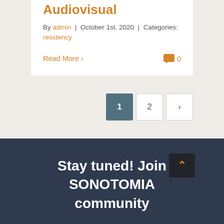Audiovisual
By admin | October 1st, 2020 | Categories: residency
Read More >
0
1  2  >
Stay tuned! Join SONOTOMIA community